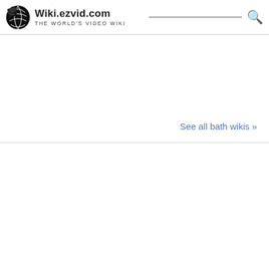Wiki.ezvid.com The World's Video Wiki
See all bath wikis »